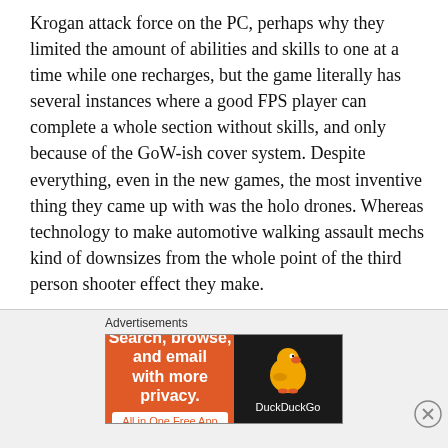Krogan attack force on the PC, perhaps why they limited the amount of abilities and skills to one at a time while one recharges, but the game literally has several instances where a good FPS player can complete a whole section without skills, and only because of the GoW-ish cover system. Despite everything, even in the new games, the most inventive thing they came up with was the holo drones. Whereas technology to make automotive walking assault mechs kind of downsizes from the whole point of the third person shooter effect they make.
Which kind of leads me into my final. In the end, I can't help but feel they most of all, brutally stepped on what tiptoeing around your squadmates was like. It's far too easy now to walk in and follow an almost routine way of
Advertisements
[Figure (infographic): DuckDuckGo advertisement banner: orange left panel with text 'Search, browse, and email with more privacy. All in One Free App' and dark right panel with DuckDuckGo duck logo and brand name.]